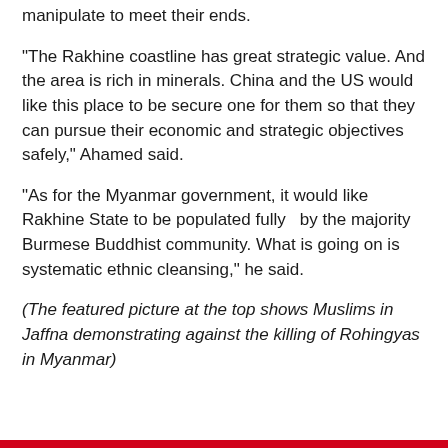manipulate to meet their ends.
“The Rakhine coastline has great strategic value. And the area is rich in minerals. China and the US would like this place to be secure one for them so that they can pursue their economic and strategic objectives safely,” Ahamed said.
“As for the Myanmar government, it would like Rakhine State to be populated fully   by the majority Burmese Buddhist community. What is going on is systematic ethnic cleansing,” he said.
(The featured picture at the top shows Muslims in Jaffna demonstrating against the killing of Rohingyas in Myanmar)